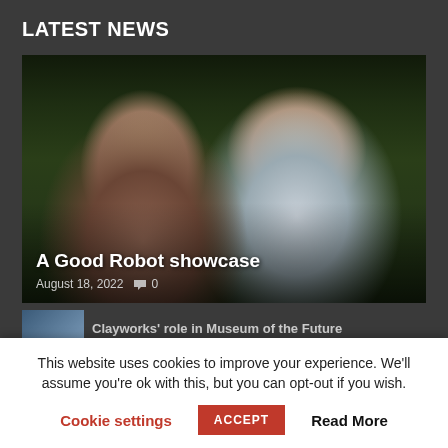LATEST NEWS
[Figure (photo): Two people standing outdoors in front of green trees. A woman with reddish-brown hair on the left, a smiling man in a blue shirt on the right.]
A Good Robot showcase
August 18, 2022   0
Clayworks' role in Museum of the Future
This website uses cookies to improve your experience. We'll assume you're ok with this, but you can opt-out if you wish.
Cookie settings   ACCEPT   Read More